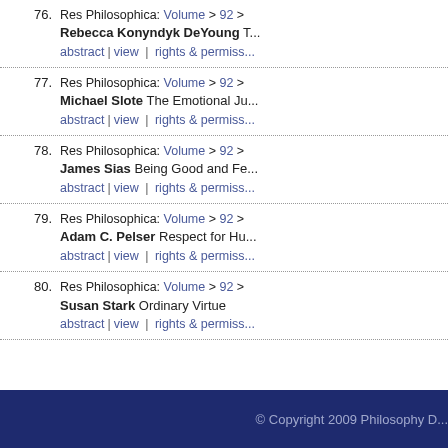76. Res Philosophica: Volume > 92 > Rebecca Konyndyk DeYoung T... abstract | view | rights & permiss...
77. Res Philosophica: Volume > 92 > Michael Slote The Emotional Ju... abstract | view | rights & permiss...
78. Res Philosophica: Volume > 92 > James Sias Being Good and Fe... abstract | view | rights & permiss...
79. Res Philosophica: Volume > 92 > Adam C. Pelser Respect for Hu... abstract | view | rights & permiss...
80. Res Philosophica: Volume > 92 > Susan Stark Ordinary Virtue abstract | view | rights & permiss...
© Copyright 2009 Philosophy D...